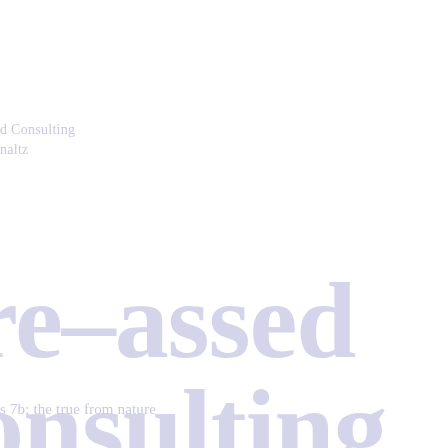d Consulting
naltz
re-assed
onsulting
: The Mess
s 7b: the true from nature